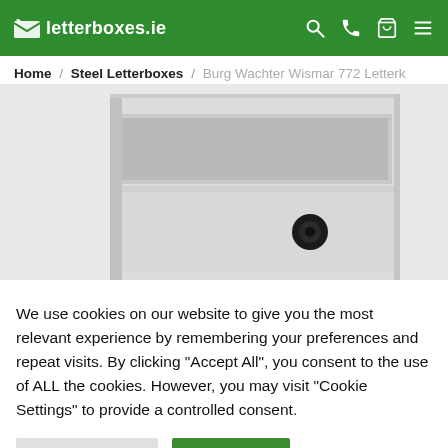letterboxes.ie
Home / Steel Letterboxes / Burg Wachter Wismar 772 Letterk
[Figure (photo): Close-up product photo of a white steel letterbox with an open slot at top and a lower drawer with a round black lock/knob, on a light grey background.]
We use cookies on our website to give you the most relevant experience by remembering your preferences and repeat visits. By clicking “Accept All”, you consent to the use of ALL the cookies. However, you may visit “Cookie Settings” to provide a controlled consent.
Cookie Settings | Accept All